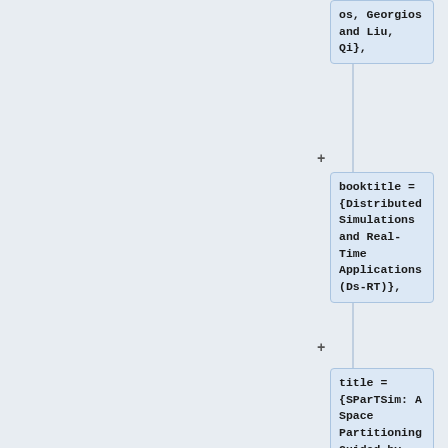os, Georgios and Liu, Qi},
booktitle = {Distributed Simulations and Real-Time Applications (Ds-RT)},
title = {SParTSim: A Space Partitioning Guided by Road Network for Distributed Traffic Simulations}